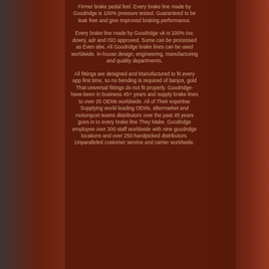Firmer brake pedal feel. Every brake line made by Goodridge is 100% pressure tested. Guaranteed to be leak free and give Improved braking performance.
Every brake line made by Goodridge uk is 100% tuv, dowry, adr and ISO approved. Some can be processed as Even abe. All Goodridge brake lines can be used worldwide. In-house design, engineering, manufacturing and quality departments.
All fittings are designed and Manufactured to fit every app first time, so no bending is required of banjos, gold That universal fittings do not fit properly. Goodridge-have-been in business 45+ years and supply brake lines to over 25 OEMs worldwide. All of Their expertise Supplying world leading OEMs, aftermarket and motorsport teams distributors over the past 45 years goes in to every brake line They Make. Goodridge employee over 300 staff worldwide with nine goodridge locations and over 250 handpicked distributors. Unparalleled customer service and carrier worldwide.